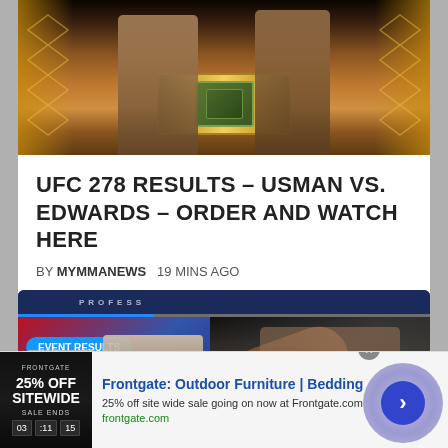[Figure (photo): UFC 278 promotional image showing fighters with championship belt against gold and dark background]
UFC 278 RESULTS – USMAN VS. EDWARDS – ORDER AND WATCH HERE
BY MYMMANEWS   19 MINS AGO
[Figure (photo): MMA sports news carousel showing female fighters with EVENT RESULTS badge on left panel, and a male fighter in action on right panel with arrow navigation button. Partial caption 'Joe Elmore onConnor' visible at bottom.]
[Figure (photo): Frontgate advertisement banner: 25% OFF SITEWIDE promotion with outdoor furniture and bedding. Text: Frontgate: Outdoor Furniture | Bedding. 25% off site wide sale going on now at Frontgate.com. frontgate.com]